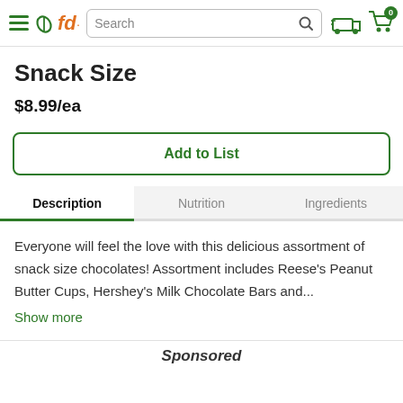fd Search (navigation header with hamburger menu, logo, search bar, delivery and cart icons)
Snack Size
$8.99/ea
Add to List
Description | Nutrition | Ingredients
Everyone will feel the love with this delicious assortment of snack size chocolates! Assortment includes Reese's Peanut Butter Cups, Hershey's Milk Chocolate Bars and...
Show more
Sponsored